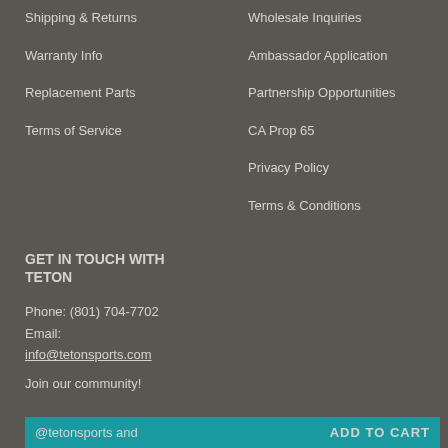Shipping & Returns
Warranty Info
Replacement Parts
Terms of Service
Wholesale Inquiries
Ambassador Application
Partnership Opportunities
CA Prop 65
Privacy Policy
Terms & Conditions
GET IN TOUCH WITH TETON
Phone: (801) 704-7702
Email:
info@tetonsports.com
Join our community!
@tetonsports and